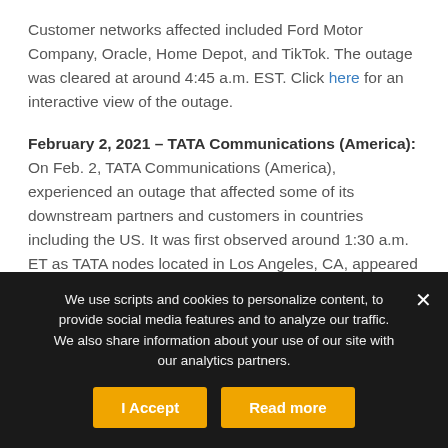Customer networks affected included Ford Motor Company, Oracle, Home Depot, and TikTok. The outage was cleared at around 4:45 a.m. EST. Click here for an interactive view of the outage.
February 2, 2021 – TATA Communications (America): On Feb. 2, TATA Communications (America), experienced an outage that affected some of its downstream partners and customers in countries including the US. It was first observed around 1:30 a.m. ET as TATA nodes located in Los Angeles, CA, appeared to show outage conditions. After five minutes, other nodes located in Seville...
We use scripts and cookies to personalize content, to provide social media features and to analyze our traffic. We also share information about your use of our site with our analytics partners.